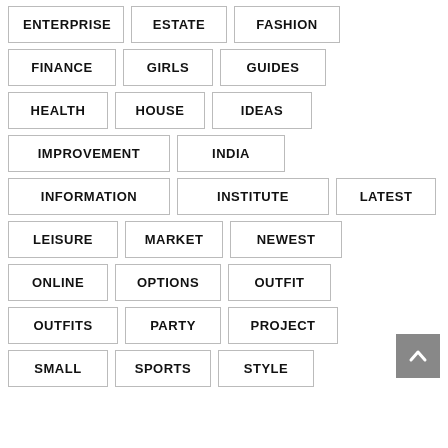ENTERPRISE
ESTATE
FASHION
FINANCE
GIRLS
GUIDES
HEALTH
HOUSE
IDEAS
IMPROVEMENT
INDIA
INFORMATION
INSTITUTE
LATEST
LEISURE
MARKET
NEWEST
ONLINE
OPTIONS
OUTFIT
OUTFITS
PARTY
PROJECT
SMALL
SPORTS
STYLE